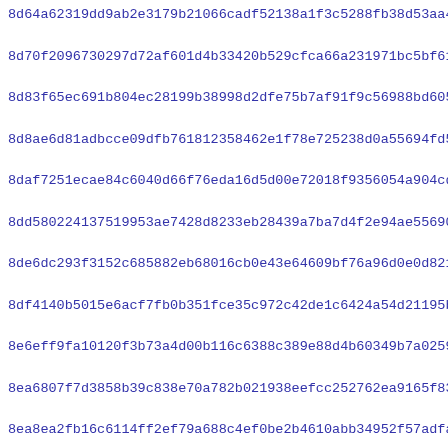8d64a62319dd9ab2e3179b21066cadf52138a1f3c5288fb38d53aa480a523
8d70f2096730297d72af601d4b33420b529cfca66a231971bc5bf61c18735
8d83f65ec691b804ec28199b38998d2dfe75b7af91f9c56988bd6050631bb
8d8ae6d81adbcce09dfb761812358462e1f78e725238d0a55694fd5d7846f
8daf7251ecae84c6040d66f76eda16d5d00e72018f9356054a904cdb01218
8dd580224137519953ae7428d8233eb28439a7ba7d4f2e94ae55690af3bb6
8de6dc293f3152c685882eb68016cb0e43e64609bf76a96d0e0d821815bfe
8df4140b5015e6acf7fb0b351fce35c972c42de1c6424a54d21195b9ca849
8e6eff9fa10120f3b73a4d00b116c6388c389e88d4b60349b7a0259e86afe
8ea6807f7d3858b39c838e70a782b021938eefcc252762ea9165f8310b5ff
8ea8ea2fb16c6114ff2ef79a688c4ef0be2b4610abb34952f57adfa29fac7